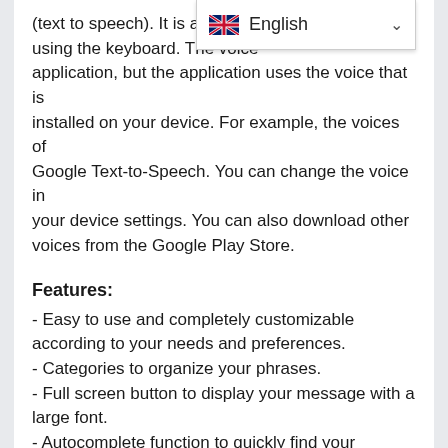(text to speech). It is also possible using the keyboard. The voice application, but the application uses the voice that is installed on your device. For example, the voices of Google Text-to-Speech. You can change the voice in your device settings. You can also download other voices from the Google Play Store.
Features:
- Easy to use and completely customizable according to your needs and preferences.
- Categories to organize your phrases.
- Full screen button to display your message with a large font.
- Autocomplete function to quickly find your phrases.
- The application is available for smartphones and tablets.
- Vertical and horizontal layout for all devices.
- Backup to the device, Mail or Google Drive.
- Add, change or delete your own categories and phrases.
- You can create categories to organize your phrases for quick access.
- Press and hold (optional setting) to easily edit the